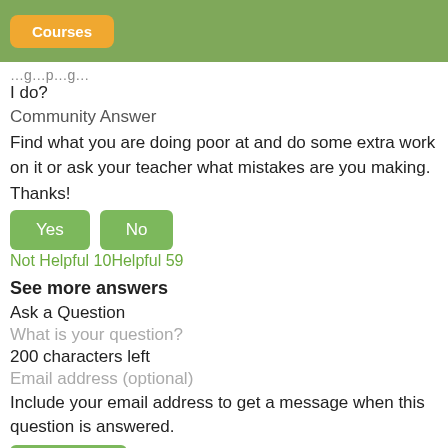Courses
I do?
Community Answer
Find what you are doing poor at and do some extra work on it or ask your teacher what mistakes are you making.
Thanks!
Not Helpful 10Helpful 59
See more answers
Ask a Question
What is your question?
200 characters left
Email address (optional)
Include your email address to get a message when this question is answered.
Submit